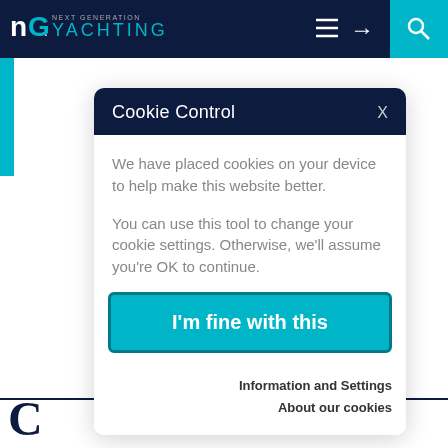[Figure (screenshot): Next Generation Yachting website header navigation bar with logo, hamburger menu, login and search icons on dark navy background with teal accent block]
[Figure (screenshot): Website background showing partial content: number 86, partial words 'cht' and 'us', dark navy content blocks]
Cookie Control
We have placed cookies on your device to help make this website better.
You can use this tool to change your cookie settings. Otherwise, we'll assume you're OK to continue.
I'm fine with this
Information and Settings
About our cookies